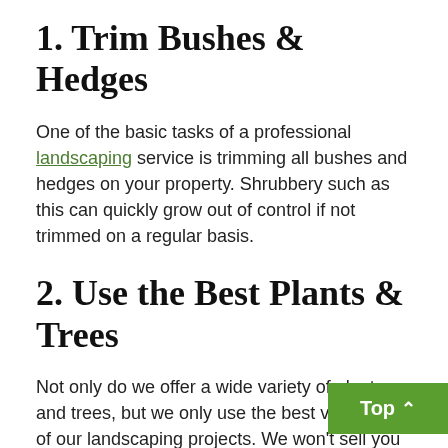1. Trim Bushes & Hedges
One of the basic tasks of a professional landscaping service is trimming all bushes and hedges on your property. Shrubbery such as this can quickly grow out of control if not trimmed on a regular basis.
2. Use the Best Plants & Trees
Not only do we offer a wide variety of plants and trees, but we only use the best vege[tation] of our landscaping projects. We won't sell you a hosta, shasta daisy, or red maple that is